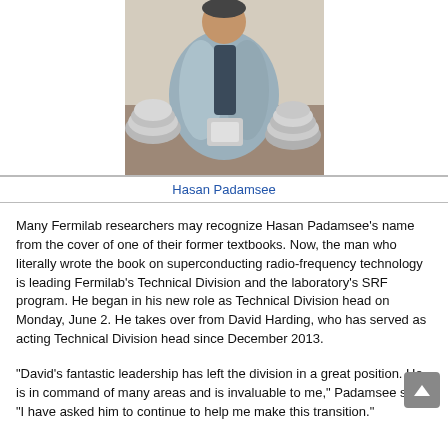[Figure (photo): Hasan Padamsee seated at a table with superconducting radio-frequency (SRF) cavity components in front of him, wearing a gray blazer and dark shirt.]
Hasan Padamsee
Many Fermilab researchers may recognize Hasan Padamsee’s name from the cover of one of their former textbooks. Now, the man who literally wrote the book on superconducting radio-frequency technology is leading Fermilab’s Technical Division and the laboratory’s SRF program. He began in his new role as Technical Division head on Monday, June 2. He takes over from David Harding, who has served as acting Technical Division head since December 2013.
“David’s fantastic leadership has left the division in a great position. He is in command of many areas and is invaluable to me,” Padamsee said. “I have asked him to continue to help me make this transition.”